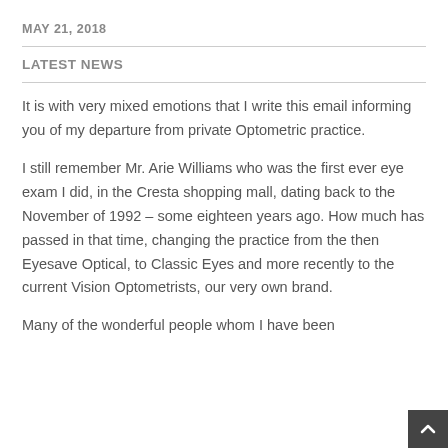MAY 21, 2018
LATEST NEWS
It is with very mixed emotions that I write this email informing you of my departure from private Optometric practice.
I still remember Mr. Arie Williams who was the first ever eye exam I did, in the Cresta shopping mall, dating back to the November of 1992 – some eighteen years ago. How much has passed in that time, changing the practice from the then Eyesave Optical, to Classic Eyes and more recently to the current Vision Optometrists, our very own brand.
Many of the wonderful people whom I have been